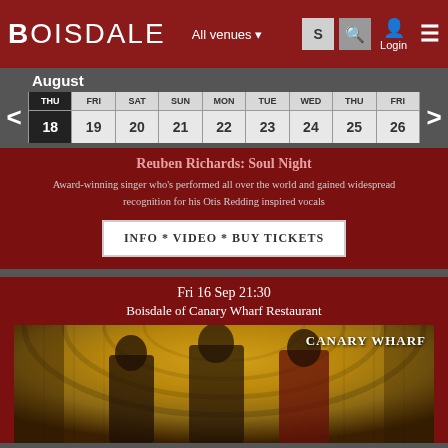Boisdale — All venues — Login
August
| THU | FRI | SAT | SUN | MON | TUE | WED | THU | FRI |
| --- | --- | --- | --- | --- | --- | --- | --- | --- |
| 18 | 19 | 20 | 21 | 22 | 23 | 24 | 25 | 26 |
Reuben Richards: Soul Night
Award-winning singer who's performed all over the world and gained widespread recognition for his Otis Redding inspired vocals
INFO * VIDEO * BUY TICKETS
Fri 16 Sep 21:30
Boisdale of Canary Wharf Restaurant
[Figure (photo): Three musicians posed in an ornate golden corridor, text overlay reads CANARY WHARF]